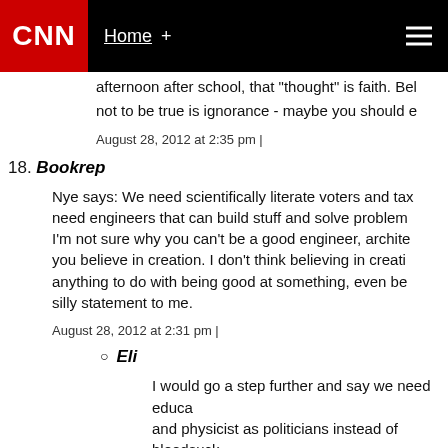CNN | Home +
afternoon after school, that "thought" is faith. Bel not to be true is ignorance - maybe you should e
August 28, 2012 at 2:35 pm |
18. Bookrep
Nye says: We need scientifically literate voters and tax need engineers that can build stuff and solve problem I'm not sure why you can't be a good engineer, archite you believe in creation. I don't think believing in creati anything to do with being good at something, even be silly statement to me.
August 28, 2012 at 2:31 pm |
Eli
I would go a step further and say we need educa and physicist as politicians instead of bloodsuck
August 28, 2012 at 2:33 pm |